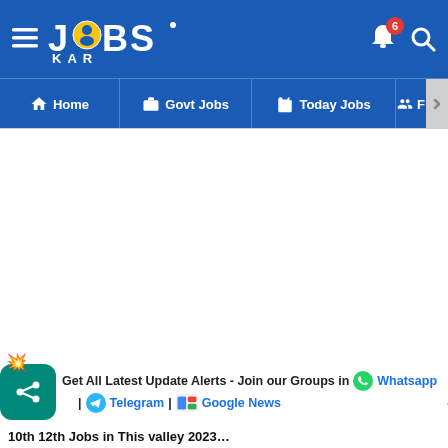JOBSKAR - Home | Govt Jobs | Today Jobs
[Figure (screenshot): JOBSKAR app navigation bar with Home, Govt Jobs, Today Jobs menu items]
Get All Latest Update Alerts - Join our Groups in Whatsapp | Telegram | Google News
10th 12th Jobs in This valley 2023...